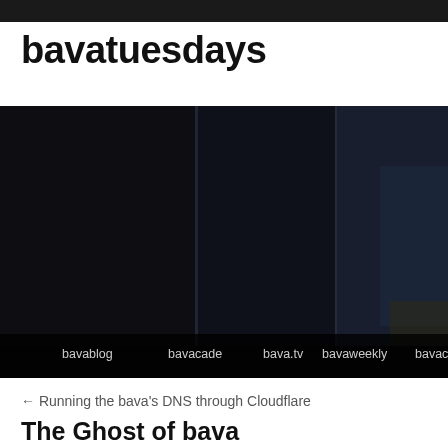bavatuesdays
[Figure (photo): Dark moody photo of window blinds or curtains at night with navigation bar overlay showing: bavablog, bavacade, bava.tv, bavaweekly, bavacourses, ba...]
← Running the bava's DNS through Cloudflare
The Ghost of bava